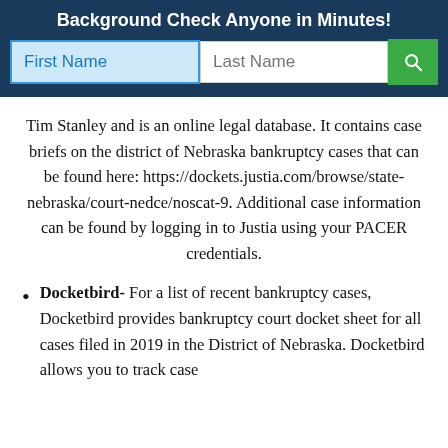Background Check Anyone in Minutes!
[Figure (screenshot): Search bar UI with First Name (blue highlighted input), Last Name input, and green search button]
Tim Stanley and is an online legal database. It contains case briefs on the district of Nebraska bankruptcy cases that can be found here: https://dockets.justia.com/browse/state-nebraska/court-nedce/noscat-9. Additional case information can be found by logging in to Justia using your PACER credentials.
Docketbird- For a list of recent bankruptcy cases, Docketbird provides bankruptcy court docket sheet for all cases filed in 2019 in the District of Nebraska. Docketbird allows you to track case